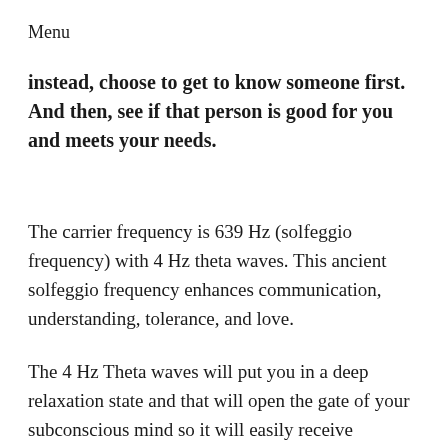Menu
instead, choose to get to know someone first. And then, see if that person is good for you and meets your needs.
The carrier frequency is 639 Hz (solfeggio frequency) with 4 Hz theta waves. This ancient solfeggio frequency enhances communication, understanding, tolerance, and love.
The 4 Hz Theta waves will put you in a deep relaxation state and that will open the gate of your subconscious mind so it will easily receive messages and shift your limiting beliefs about the